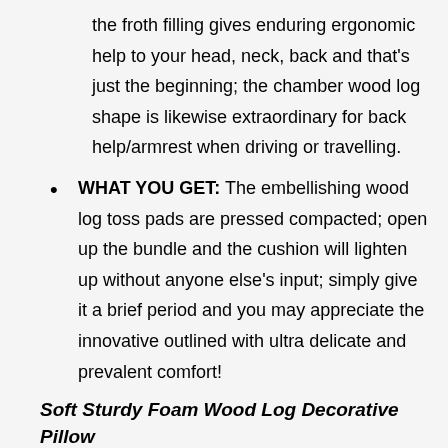the froth filling gives enduring ergonomic help to your head, neck, back and that's just the beginning; the chamber wood log shape is likewise extraordinary for back help/armrest when driving or travelling.
WHAT YOU GET: The embellishing wood log toss pads are pressed compacted; open up the bundle and the cushion will lighten up without anyone else's input; simply give it a brief period and you may appreciate the innovative outlined with ultra delicate and prevalent comfort!
Soft Sturdy Foam Wood Log Decorative Pillow
Bring the Outdoors Inside